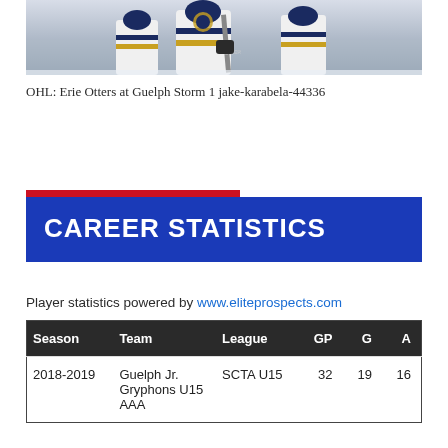[Figure (photo): Hockey player in white and navy/gold Guelph Storm jersey holding a Bauer stick on ice, with teammates in background]
OHL: Erie Otters at Guelph Storm 1 jake-karabela-44336
CAREER STATISTICS
Player statistics powered by www.eliteprospects.com
| Season | Team | League | GP | G | A |
| --- | --- | --- | --- | --- | --- |
| 2018-2019 | Guelph Jr. Gryphons U15 AAA | SCTA U15 | 32 | 19 | 16 |